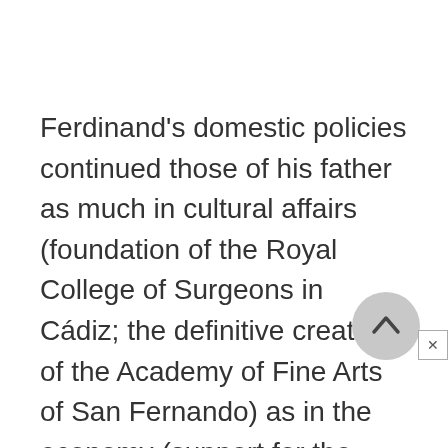Ferdinand's domestic policies continued those of his father as much in cultural affairs (foundation of the Royal College of Surgeons in Cádiz; the definitive creation of the Academy of Fine Arts of San Fernando) as in the economy (support for the royal tobacco factory in Seville and the royal textile factory in Brihuega; support for exclusive trading privileges with America for the Royal Osuna Company...